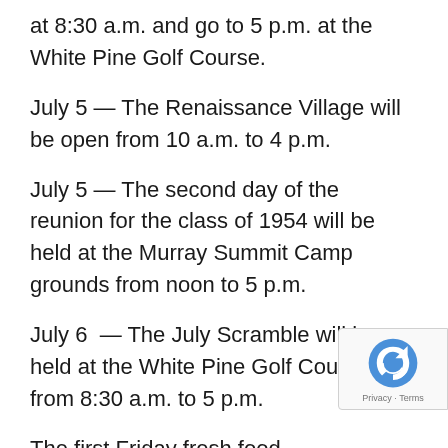at 8:30 a.m. and go to 5 p.m. at the White Pine Golf Course.
July 5 — The Renaissance Village will be open from 10 a.m. to 4 p.m.
July 5 — The second day of the reunion for the class of 1954 will be held at the Murray Summit Camp grounds from noon to 5 p.m.
July 6  — The July Scramble will be held at the White Pine Golf Course from 8:30 a.m. to 5 p.m.
The first Friday fresh food distribution has been moved to July 11. Everyone has to fill out a new form. I will have them available at the senior center and at the distribution.